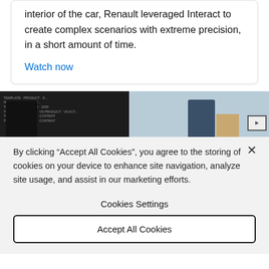interior of the car, Renault leveraged Interact to create complex scenarios with extreme precision, in a short amount of time.
Watch now
[Figure (photo): Screenshot of a webpage showing a dark room with text overlays on the left side and a person standing in a blue-grey room on the right side]
By clicking “Accept All Cookies”, you agree to the storing of cookies on your device to enhance site navigation, analyze site usage, and assist in our marketing efforts.
Cookies Settings
Accept All Cookies